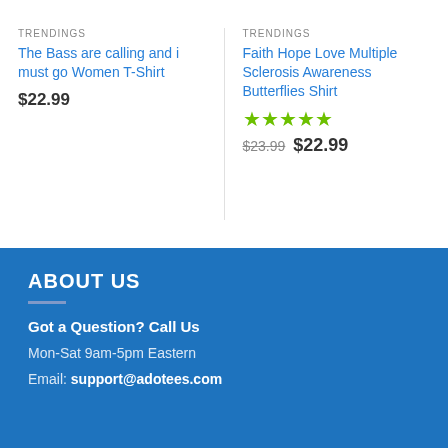TRENDINGS
The Bass are calling and i must go Women T-Shirt
$22.99
TRENDINGS
Faith Hope Love Multiple Sclerosis Awareness Butterflies Shirt
★★★★★
$23.99 $22.99
ABOUT US
Got a Question? Call Us
Mon-Sat 9am-5pm Eastern
Email: support@adotees.com